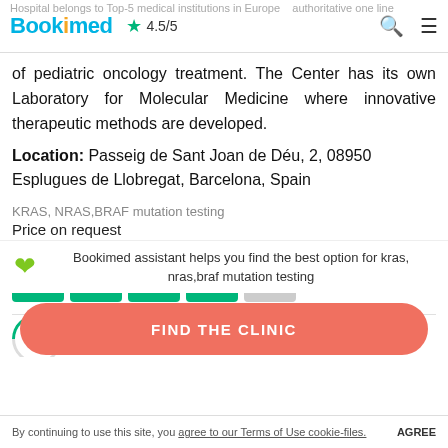Bookimed ★ 4.5/5
of pediatric oncology treatment. The Center has its own Laboratory for Molecular Medicine where innovative therapeutic methods are developed.
Location: Passeig de Sant Joan de Déu, 2, 08950 Esplugues de Llobregat, Barcelona, Spain
KRAS, NRAS,BRAF mutation testing
Price on request
[Figure (other): Trustpilot 4-star rating display (4 filled green stars, 1 empty grey star)]
4.8  TrustScore · 24 reviews
Bookimed assistant helps you find the best option for kras, nras,braf mutation testing
FIND THE CLINIC
By continuing to use this site, you agree to our Terms of Use cookie-files. AGREE